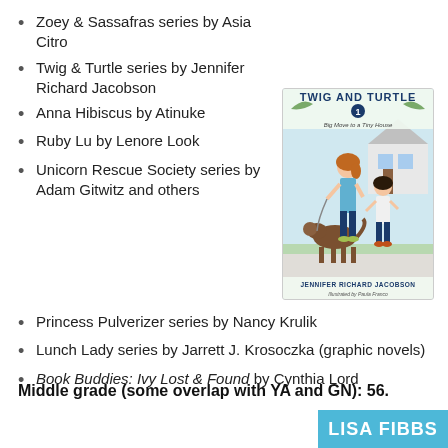Zoey & Sassafras series by Asia Citro
Twig & Turtle series by Jennifer Richard Jacobson
[Figure (illustration): Book cover of Twig and Turtle #1: Big Move to a Tiny House by Jennifer Richard Jacobson, illustrated by Paula Franco. Shows a girl with a dog and another child on a sidewalk with a small house in background.]
Anna Hibiscus by Atinuke
Ruby Lu by Lenore Look
Unicorn Rescue Society series by Adam Gitwitz and others
Princess Pulverizer series by Nancy Krulik
Lunch Lady series by Jarrett J. Krosoczka (graphic novels)
Book Buddies: Ivy Lost & Found by Cynthia Lord
Middle grade (some overlap with YA and GN): 56.
[Figure (other): Blue banner with white text reading LISA FIBBS (partial, cropped at bottom)]